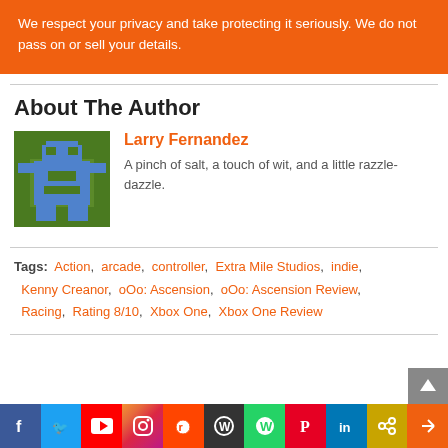We respect your privacy and take protecting it seriously. We do not pass on or sell your details.
About The Author
[Figure (illustration): Pixel art avatar of Larry Fernandez - green and blue robot/space invader style avatar]
Larry Fernandez
A pinch of salt, a touch of wit, and a little razzle-dazzle.
Tags: Action, arcade, controller, Extra Mile Studios, indie, Kenny Creanor, oOo: Ascension, oOo: Ascension Review, Racing, Rating 8/10, Xbox One, Xbox One Review